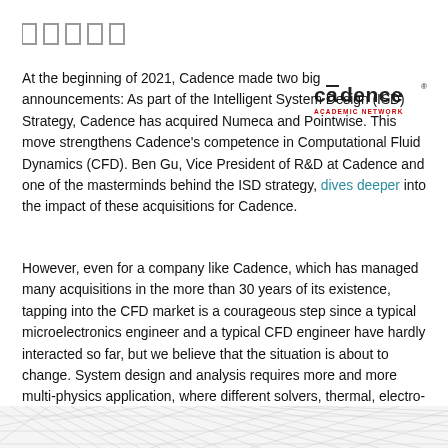[Figure (other): Five rectangular icon boxes in a row at the top of the page]
[Figure (logo): Cadence Academic Network logo — stylized word 'cadence' with overline on the 'a', red 'ACADEMIC NETWORK' subtitle]
At the beginning of 2021, Cadence made two big announcements: As part of the Intelligent System Design (ISD) Strategy, Cadence has acquired Numeca and Pointwise. This move strengthens Cadence's competence in Computational Fluid Dynamics (CFD). Ben Gu, Vice President of R&D at Cadence and one of the masterminds behind the ISD strategy, dives deeper into the impact of these acquisitions for Cadence.
However, even for a company like Cadence, which has managed many acquisitions in the more than 30 years of its existence, tapping into the CFD market is a courageous step since a typical microelectronics engineer and a typical CFD engineer have hardly interacted so far, but we believe that the situation is about to change. System design and analysis requires more and more multi-physics application, where different solvers, thermal, electro-magnetic, CFD, and others will interact with each other in order to give the system designer a fuller picture of the complete system before it is created.
[Figure (illustration): Partial wireframe/mesh engineering diagram visible at the bottom edge of the page]